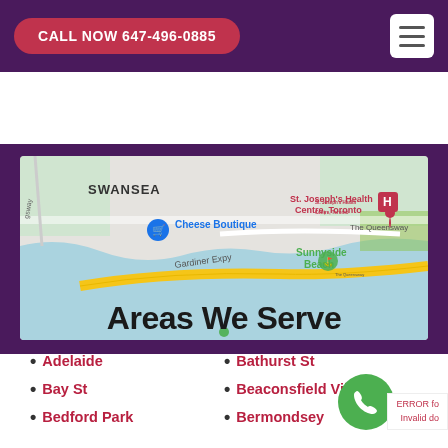CALL NOW 647-496-0885
[Figure (map): Google Maps showing Swansea and surrounding Toronto area including Cheese Boutique, St. Joseph's Health Centre Toronto, Sunnyside Beach, Gardiner Expy, and The Queensway.]
Areas We Serve
Adelaide
Bay St
Bedford Park
Bathurst St
Beaconsfield Village
Bermondsey